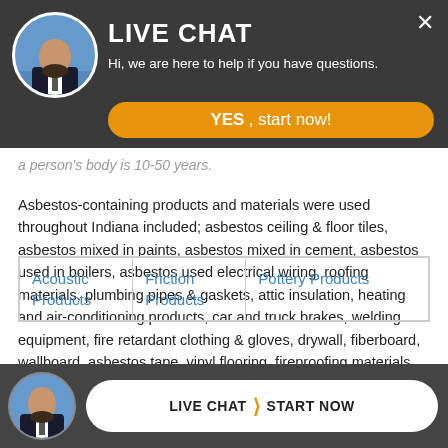[Figure (screenshot): Live chat popup overlay with dark header bar, avatar photo of a bald bearded man in suit, LIVE CHAT title, subtitle 'Hi, we are here to help if you have questions.', orange YES start now button, and close X button]
a person's body is 10-50 years.
Asbestos-containing products and materials were used throughout Indiana included; asbestos ceiling & floor tiles, asbestos mixed in paints, asbestos mixed in cement, asbestos used in boilers, asbestos used electrical wiring, roofing materials, plumbing pipes & gaskets, attic insulation, heating and air-conditioning products, car and truck brakes, welding equipment, fire retardant clothing & gloves, drywall, fiberboard, wallboard, asbestos tape, vinyl flooring, fireproofing materials, fireplaces, ovens, etc.
| Acoustic Products | Friction Products | Pottery Products |
| --- | --- | --- |
[Figure (screenshot): Bottom live chat bar with avatar, LIVE CHAT chevron START NOW button on dark background]